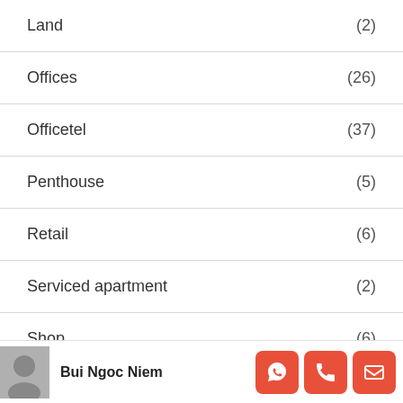Land (2)
Offices (26)
Officetel (37)
Penthouse (5)
Retail (6)
Serviced apartment (2)
Shop (6)
Studio apartment (1)
Bui Ngoc Niem